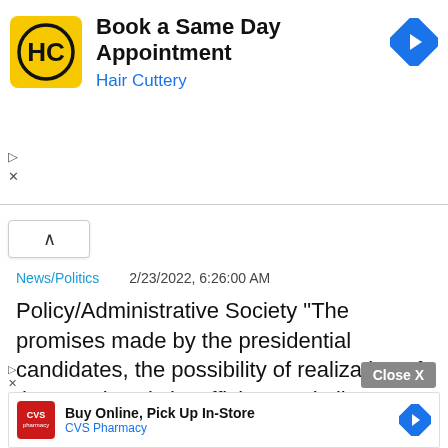[Figure (screenshot): Hair Cuttery advertisement banner: yellow square logo with HC text, headline 'Book a Same Day Appointment', subtext 'Hair Cuttery' in blue, blue diamond arrow icon on right]
[Figure (screenshot): Collapse/chevron up button UI element]
News/Politics   2/23/2022, 6:26:00 AM
Policy/Administrative Society "The promises made by the presidential candidates, the possibility of realization of the promises is insufficient… similar to each other"
[Figure (screenshot): CVS Pharmacy advertisement banner: red CVS pharmacy logo, headline 'Buy Online, Pick Up In-Store', subtext 'CVS Pharmacy' in blue, blue diamond arrow icon on right, with Close X button above]